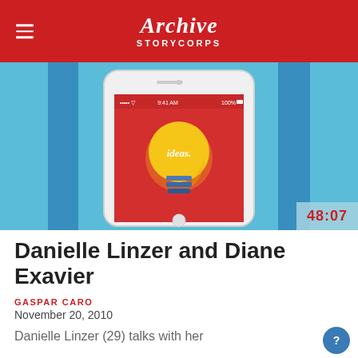Archive STORYCORPS
[Figure (screenshot): A smartphone showing an app with a red background and a yellow lightbulb with the word 'ideas' written on it. The phone is displayed against a teal/blue background. A duration badge shows 48:07 in the bottom right.]
Danielle Linzer and Diane Exavier
GASPAR CARO
November 20, 2010
Danielle Linzer (29) talks with her